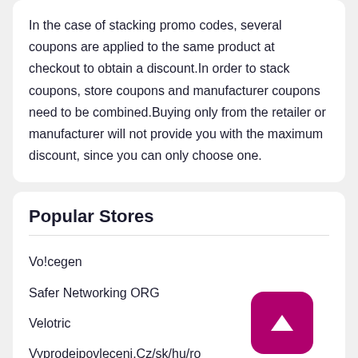In the case of stacking promo codes, several coupons are applied to the same product at checkout to obtain a discount.In order to stack coupons, store coupons and manufacturer coupons need to be combined.Buying only from the retailer or manufacturer will not provide you with the maximum discount, since you can only choose one.
Popular Stores
Vo!cegen
Safer Networking ORG
Velotric
Vyprodejpovleceni.Cz/sk/hu/ro